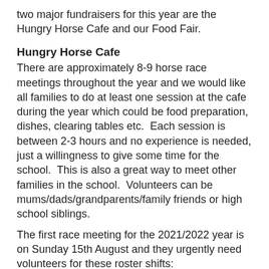two major fundraisers for this year are the Hungry Horse Cafe and our Food Fair.
Hungry Horse Cafe
There are approximately 8-9 horse race meetings throughout the year and we would like all families to do at least one session at the cafe during the year which could be food preparation, dishes, clearing tables etc.  Each session is between 2-3 hours and no experience is needed, just a willingness to give some time for the school.  This is also a great way to meet other families in the school.  Volunteers can be mums/dads/grandparents/family friends or high school siblings.
The first race meeting for the 2021/2022 year is on Sunday 15th August and they urgently need volunteers for these roster shifts:
10.00 am to 12.00 pm
12.00 to 3.00 pm
3.00 to 5.30 pm
Please contact Rebecca Heffernan on 027 432 4056 or